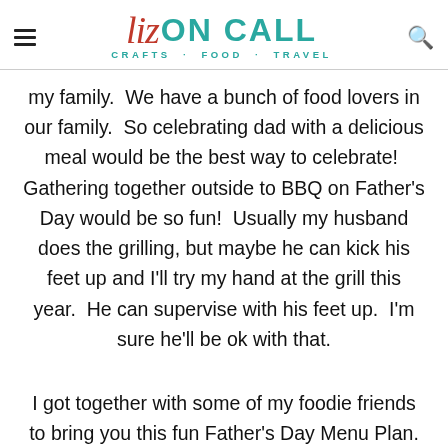Liz ON CALL — CRAFTS · FOOD · TRAVEL
my family.  We have a bunch of food lovers in our family.  So celebrating dad with a delicious meal would be the best way to celebrate!  Gathering together outside to BBQ on Father's Day would be so fun!  Usually my husband does the grilling, but maybe he can kick his feet up and I'll try my hand at the grill this year.  He can supervise with his feet up.  I'm sure he'll be ok with that.
I got together with some of my foodie friends to bring you this fun Father's Day Menu Plan.